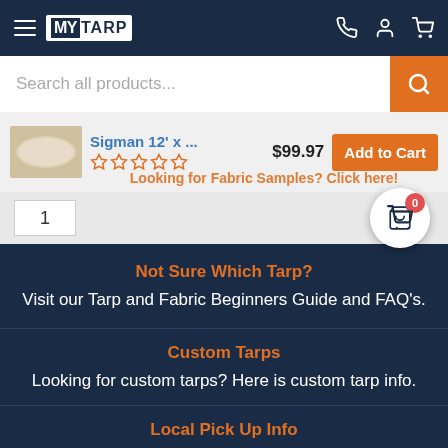MY TARP navigation bar with hamburger menu, logo, phone, account, and cart icons
Search all products...
Sigman 12' x ... $99.97  Add to Cart  (5 stars empty) Looking for Fabric Samples? Click here!
1
Not Sure Which Tarp?
Visit our Tarp and Fabric Beginners Guide and FAQ's.
Custom Tarps
Looking for custom tarps? Here is custom tarp info.
Local Pick Up Info
Picking up at one of our locations? Find pick up info...